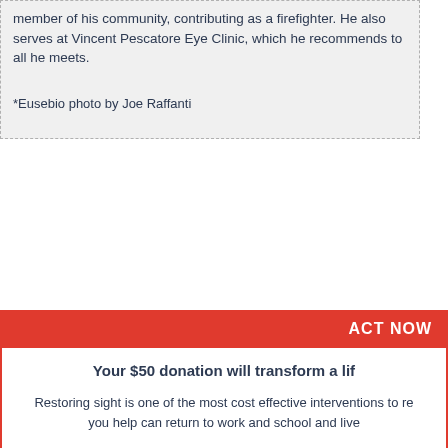member of his community, contributing as a firefighter. He also serves at Vincent Pescatore Eye Clinic, which he recommends to all he meets.
*Eusebio photo by Joe Raffanti
ACT NOW
Your $50 donation will transform a life
Restoring sight is one of the most cost effective interventions to restore dignity. The person you help can return to work and school and live independently.
Seva's vision is a world free of avoidable blindness.
Visit seva.org to see how you can give the gift of sight.